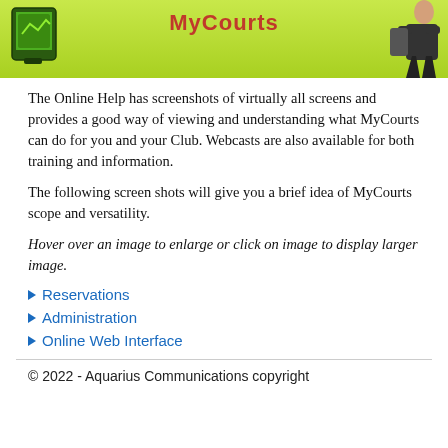[Figure (illustration): MyCourts banner with green gradient background, red/orange MyCourts logo text in center, a device/screen icon on the left, and a person with sports bag on the right]
The Online Help has screenshots of virtually all screens and provides a good way of viewing and understanding what MyCourts can do for you and your Club. Webcasts are also available for both training and information.
The following screen shots will give you a brief idea of MyCourts scope and versatility.
Hover over an image to enlarge or click on image to display larger image.
Reservations
Administration
Online Web Interface
© 2022 - Aquarius Communications copyright